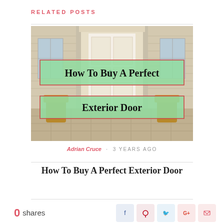RELATED POSTS
[Figure (photo): Photo of a home exterior with a white front door and brick porch, overlaid with two green banner boxes reading 'How To Buy A Perfect' and 'Exterior Door']
Adrian Cruce · 3 YEARS AGO
How To Buy A Perfect Exterior Door
0 shares